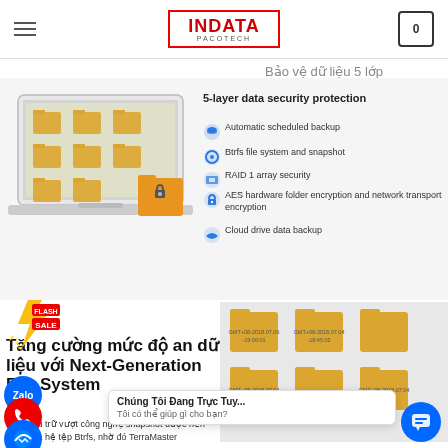INDATA PACOTECH
hỗ trợ tài giá hoặc các doanh nghiệp nhỏ.
Bảo vệ dữ liệu 5 lớp
5-layer data security protection
Automatic scheduled backup
Btrfs file system and snapshot
RAID 1 array security
AES hardware folder encryption and network transport encryption
Cloud drive data backup
[Figure (screenshot): Laptop showing file folders interface]
[Figure (photo): Orange folder with lock icon]
[Figure (photo): Flash Sale badge with lightning bolt]
Tăng cường mức độ an dữ liệu với Next-Generation File System
nghệ lưu trữ vượt công nghệ snapshot được nền tảng của hệ tệp Btrfs, nhờ đó TerraMaster
[Figure (screenshot): Folder icons with GMT timestamps]
Chúng Tôi Đang Trực Tuy...
Tôi có thể giúp gì cho bạn?